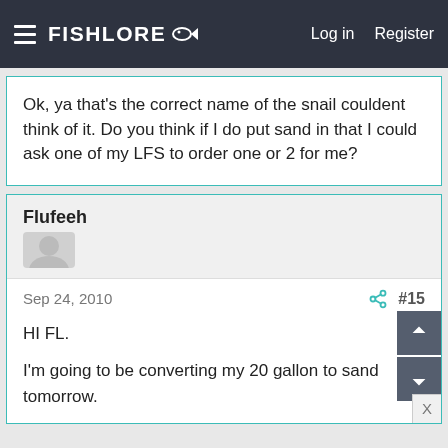FishLore  Log in  Register
Ok, ya that's the correct name of the snail couldent think of it. Do you think if I do put sand in that I could ask one of my LFS to order one or 2 for me?
Flufeeh
Sep 24, 2010  #15
HI FL.

I'm going to be converting my 20 gallon to sand tomorrow.